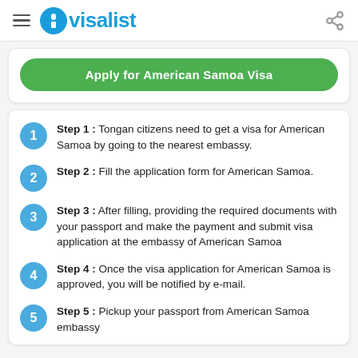visalist
Apply for American Samoa Visa
Step 1 : Tongan citizens need to get a visa for American Samoa by going to the nearest embassy.
Step 2 : Fill the application form for American Samoa.
Step 3 : After filling, providing the required documents with your passport and make the payment and submit visa application at the embassy of American Samoa
Step 4 : Once the visa application for American Samoa is approved, you will be notified by e-mail.
Step 5 : Pickup your passport from American Samoa embassy